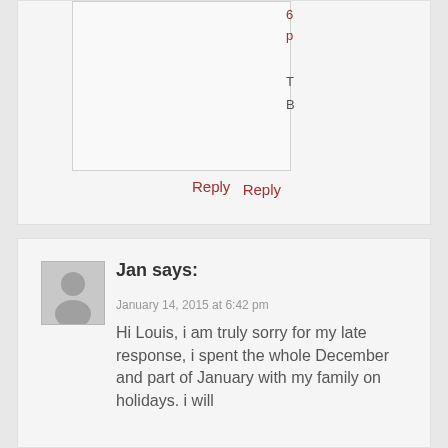[Figure (screenshot): Partial top comment block with an inner form/textarea box and a Reply link in dark red. Partial text visible on the right side showing cropped letters.]
Reply
[Figure (photo): Gray placeholder avatar silhouette for user Jan]
Jan says:
January 14, 2015 at 6:42 pm
Hi Louis, i am truly sorry for my late response, i spent the whole December and part of January with my family on holidays. i will